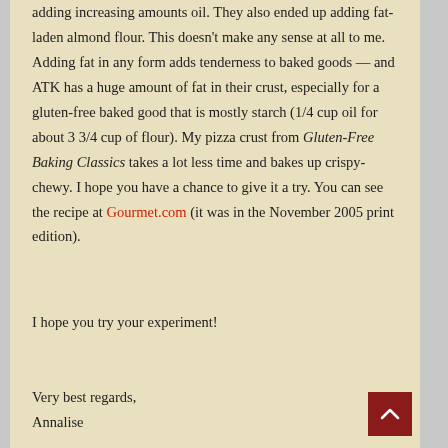adding increasing amounts oil. They also ended up adding fat-laden almond flour. This doesn't make any sense at all to me. Adding fat in any form adds tenderness to baked goods — and ATK has a huge amount of fat in their crust, especially for a gluten-free baked good that is mostly starch (1/4 cup oil for about 3 3/4 cup of flour). My pizza crust from Gluten-Free Baking Classics takes a lot less time and bakes up crispy- chewy. I hope you have a chance to give it a try. You can see the recipe at Gourmet.com (it was in the November 2005 print edition).
I hope you try your experiment!
Very best regards,
Annalise